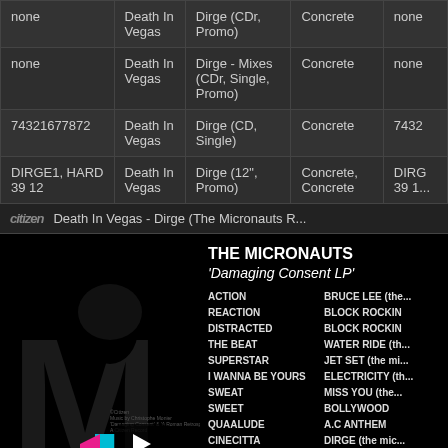| ID | Artist | Release | Label | Cat# |
| --- | --- | --- | --- | --- |
| none | Death In Vegas | Dirge (CDr, Promo) | Concrete | none |
| none | Death In Vegas | Dirge - Mixes (CDr, Single, Promo) | Concrete | none |
| 74321677872 | Death In Vegas | Dirge (CD, Single) | Concrete | 7432... |
| DIRGE1, HARD 39 12 | Death In Vegas | Dirge (12", Promo) | Concrete, Concrete | DIRG... 39 1... |
[Figure (screenshot): YouTube-style video player showing Death In Vegas - Dirge (The Micronauts R...) on the Citizen channel. Left side shows black and white album art with a silhouette of a person and 'M' letter graphic. Right side shows track listing for The Micronauts 'Damaging Consent LP' including: ACTION, REACTION, DISTRACTED, THE BEAT, SUPERSTAR, I WANNA BE YOURS, SWEAT, SWEET, QUAALUDE, CINECITTA on left column; BRUCE LEE (the...), BLOCK ROCKIN, BLOCK ROCKIN, WATER RIDE (th...), JET SET (the mi...), ELECTRICITY (th...), MISS YOU (the...), BOLLYWOOD, A.C ANTHEM, DIRGE (the mic...) on right column.]